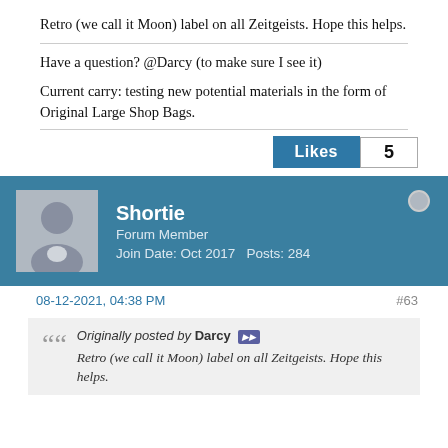Retro (we call it Moon) label on all Zeitgeists. Hope this helps.
Have a question? @Darcy (to make sure I see it)
Current carry: testing new potential materials in the form of Original Large Shop Bags.
Likes  5
Shortie
Forum Member
Join Date: Oct 2017   Posts: 284
08-12-2021, 04:38 PM    #63
Originally posted by Darcy
Retro (we call it Moon) label on all Zeitgeists. Hope this helps.